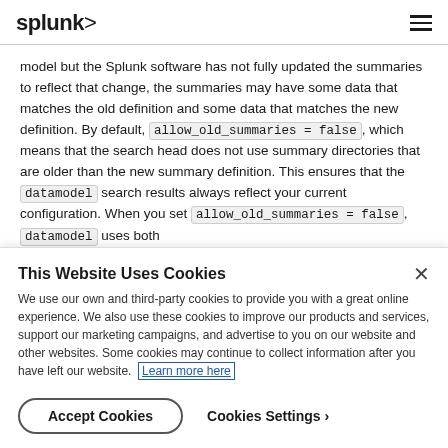splunk>
model but the Splunk software has not fully updated the summaries to reflect that change, the summaries may have some data that matches the old definition and some data that matches the new definition. By default, allow_old_summaries = false, which means that the search head does not use summary directories that are older than the new summary definition. This ensures that the datamodel search results always reflect your current configuration. When you set allow_old_summaries = false, datamodel uses both
This Website Uses Cookies
We use our own and third-party cookies to provide you with a great online experience. We also use these cookies to improve our products and services, support our marketing campaigns, and advertise to you on our website and other websites. Some cookies may continue to collect information after you have left our website. Learn more here
Accept Cookies    Cookies Settings ›